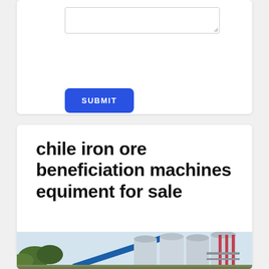[Figure (screenshot): Text area input field with resize handle, partial view at top of form card]
SUBMIT
chile iron ore beneficiation machines equiment for sale
[Figure (photo): Industrial beneficiation plant with multiple large silos (grey, with one red-striped silo), a blue conveyor belt, trees in foreground, and overcast sky background]